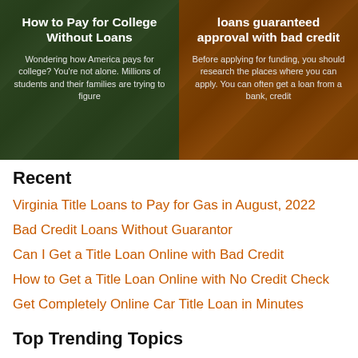[Figure (photo): Left card: 'How to Pay for College Without Loans' with text 'Wondering how America pays for college? You're not alone. Millions of students and their families are trying to figure' over a dark green background.]
[Figure (photo): Right card: partial title about personal loans guaranteed approval with bad credit, with text 'Before applying for funding, you should research the places where you can apply. You can often get a loan from a bank, credit' over a dark orange/brown background.]
Recent
Virginia Title Loans to Pay for Gas in August, 2022
Bad Credit Loans Without Guarantor
Can I Get a Title Loan Online with Bad Credit
How to Get a Title Loan Online with No Credit Check
Get Completely Online Car Title Loan in Minutes
Top Trending Topics
Payday Loans Online | No Credit Check
Payday Loan Online | No bank account
Emergency Loans | Urgent Needs
Payday Loans for Bad Credit
Social Security Disability Loans
Payday Loan with No Teletrack